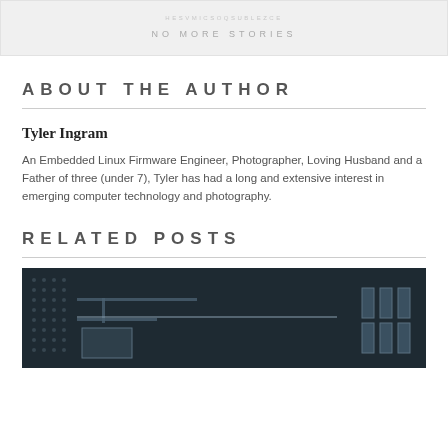NO MORE STORIES
ABOUT THE AUTHOR
Tyler Ingram
An Embedded Linux Firmware Engineer, Photographer, Loving Husband and a Father of three (under 7), Tyler has had a long and extensive interest in emerging computer technology and photography.
RELATED POSTS
[Figure (photo): Close-up photo of an electronic circuit board with components, dark teal/blue toned image]